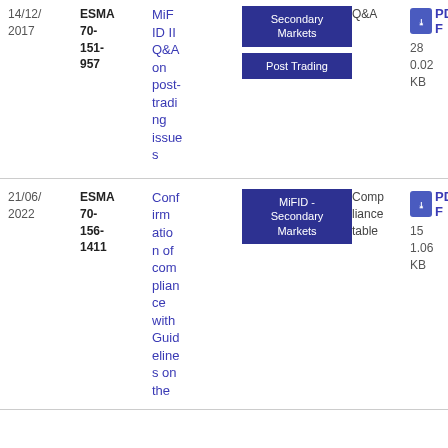| Date | Reference | Title | Tags | Type | Download |
| --- | --- | --- | --- | --- | --- |
| 14/12/2017 | ESMA 70-151-957 | MiFID II Q&A on post-trading issues | Secondary Markets | Post Trading | Q&A | PDF 28 0.02 KB |
| 21/06/2022 | ESMA 70-156-1411 | Confirmation of compliance with Guidelines on the | MiFID - Secondary Markets | Compliance table | PDF 15 1.06 KB |